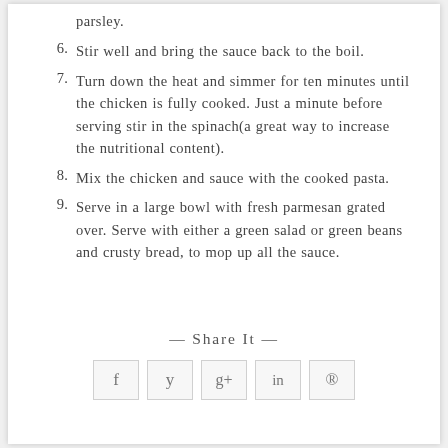parsley.
6. Stir well and bring the sauce back to the boil.
7. Turn down the heat and simmer for ten minutes until the chicken is fully cooked. Just a minute before serving stir in the spinach(a great way to increase the nutritional content).
8. Mix the chicken and sauce with the cooked pasta.
9. Serve in a large bowl with fresh parmesan grated over. Serve with either a green salad or green beans and crusty bread, to mop up all the sauce.
— Share It —
[Figure (other): Social share icons: Facebook (f), Twitter (y), Google+ (g+), LinkedIn (in), Pinterest (p)]